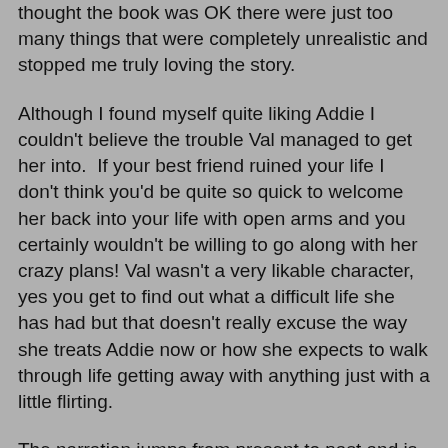thought the book was OK there were just too many things that were completely unrealistic and stopped me truly loving the story.
Although I found myself quite liking Addie I couldn't believe the trouble Val managed to get her into.  If your best friend ruined your life I don't think you'd be quite so quick to welcome her back into your life with open arms and you certainly wouldn't be willing to go along with her crazy plans! Val wasn't a very likable character, yes you get to find out what a difficult life she has had but that doesn't really excuse the way she treats Addie now or how she expects to walk through life getting away with anything just with a little flirting.
The narration jumps from present to past and is told mainly by Addie but with some chapters written from the point of view of police chief Jordan and the occasional section by their childhood tormentor Dan.  At first I found the constant jumping around a little confusing but I did find I got used to this eventually.  I think the sections I enjoyed most were told from Addie's point of view and I particularly liked the flashbacks to their time at school.  The things going on in the